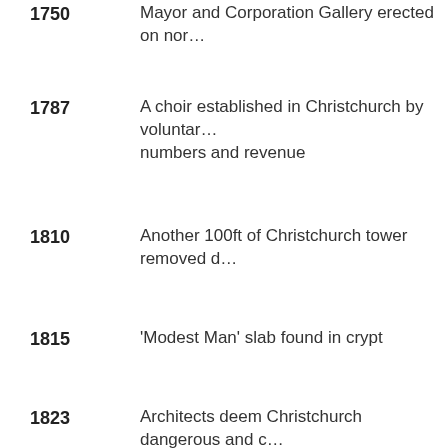1730  Mayor and Corporation Gallery erected on nor...
1787  A choir established in Christchurch by voluntary... numbers and revenue
1810  Another 100ft of Christchurch tower removed d...
1815  'Modest Man' slab found in crypt
1823  Architects deem Christchurch dangerous and c...
1825  Christchurch committee petitions parliament fo...